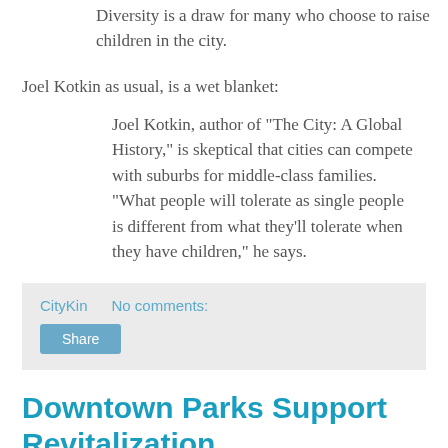Diversity is a draw for many who choose to raise children in the city.
Joel Kotkin as usual, is a wet blanket:
Joel Kotkin, author of "The City: A Global History," is skeptical that cities can compete with suburbs for middle-class families. "What people will tolerate as single people is different from what they'll tolerate when they have children," he says.
CityKin   No comments:
Share
Downtown Parks Support Revitalization
Interesting article in the Eugene Weekly advocating using